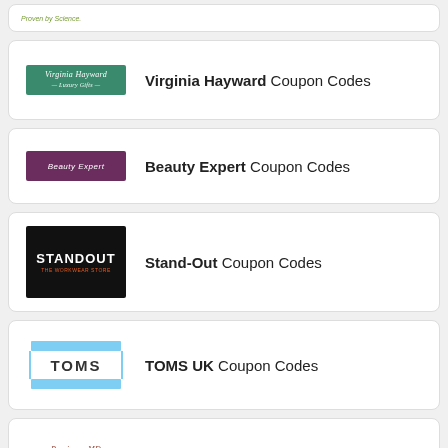[Figure (logo): Partial card showing 'Proven by Science.' text in green italic]
Virginia Hayward Coupon Codes
Beauty Expert Coupon Codes
Stand-Out Coupon Codes
TOMS UK Coupon Codes
Perricone MD UK Coupon Codes